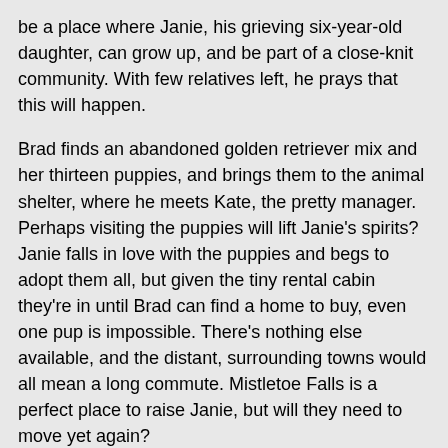be a place where Janie, his grieving six-year-old daughter, can grow up, and be part of a close-knit community. With few relatives left, he prays that this will happen.
Brad finds an abandoned golden retriever mix and her thirteen puppies, and brings them to the animal shelter, where he meets Kate, the pretty manager. Perhaps visiting the puppies will lift Janie's spirits? Janie falls in love with the puppies and begs to adopt them all, but given the tiny rental cabin they're in until Brad can find a home to buy, even one pup is impossible. There's nothing else available, and the distant, surrounding towns would all mean a long commute. Mistletoe Falls is a perfect place to raise Janie, but will they need to move yet again?
Always ready to take in homeless or abused animals and to help anyone in need, Kate worries about Brad's sad, motherless child, and invites them both for Thanksgiving dinner. Though neither has any interest in commitment,